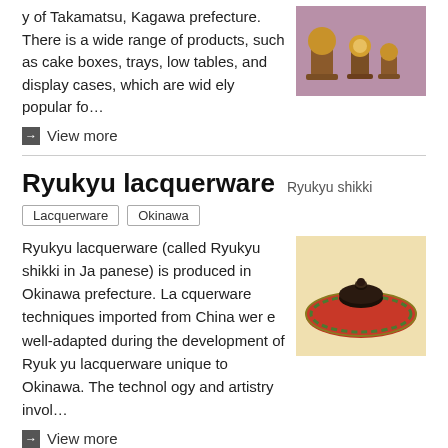y of Takamatsu, Kagawa prefecture. There is a wide range of products, such as cake boxes, trays, low tables, and display cases, which are widely popular fo…
[Figure (photo): Photo of lacquerware products on a purple/mauve background]
→ View more
Ryukyu lacquerware  Ryukyu shikki
Lacquerware
Okinawa
Ryukyu lacquerware (called Ryukyu shikki in Japanese) is produced in Okinawa prefecture. Lacquerware techniques imported from China were well-adapted during the development of Ryukyu lacquerware unique to Okinawa. The technology and artistry invol…
[Figure (photo): Photo of Ryukyu lacquerware — a red tray with a dark lidded bowl on a light background]
→ View more
Ouchi lacquerware  Ouchi nuri
Lacquerware
Yamaguchi